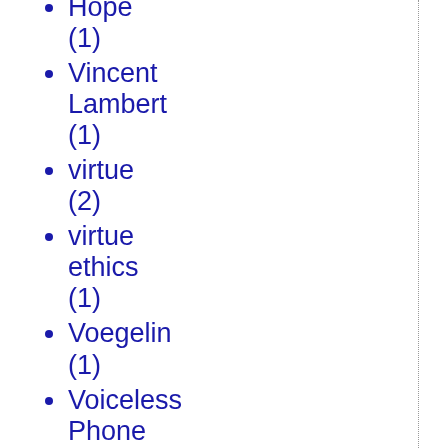Hope (1)
Vincent Lambert (1)
virtue (2)
virtue ethics (1)
Voegelin (1)
Voiceless Phone Call (1)
voting (2)
vox.com (1)
W4 (1)
W4's greatest hits